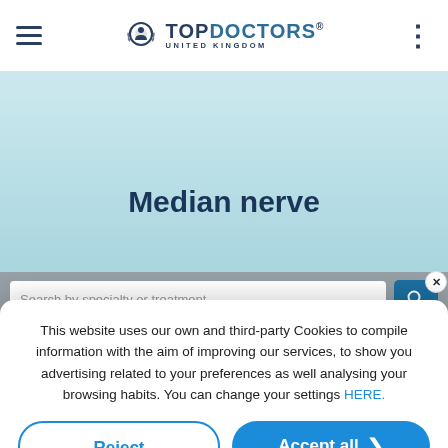TOPDOCTORS UNITED KINGDOM
Median nerve
Search by specialty or treatment
This website uses our own and third-party Cookies to compile information with the aim of improving our services, to show you advertising related to your preferences as well analysing your browsing habits. You can change your settings HERE.
Reject
Accept all
Custom configuration | Cookies Policy | Privacy Policy